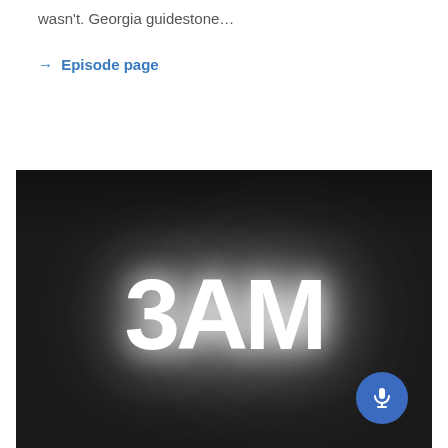wasn't. Georgia guidestone…
→ Episode page
[Figure (illustration): Dark podcast show artwork with large glowing white text '3AM' on a black background, with a round blue microphone button in the bottom-right corner.]